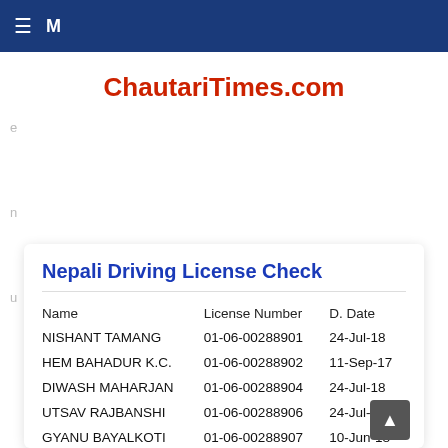≡ M
ChautariTimes.com
Nepali Driving License Check
| Name | License Number | D. Date |
| --- | --- | --- |
| NISHANT TAMANG | 01-06-00288901 | 24-Jul-18 |
| HEM BAHADUR K.C. | 01-06-00288902 | 11-Sep-17 |
| DIWASH MAHARJAN | 01-06-00288904 | 24-Jul-18 |
| UTSAV RAJBANSHI | 01-06-00288906 | 24-Jul-18 |
| GYANU BAYALKOTI | 01-06-00288907 | 10-Jun-18 |